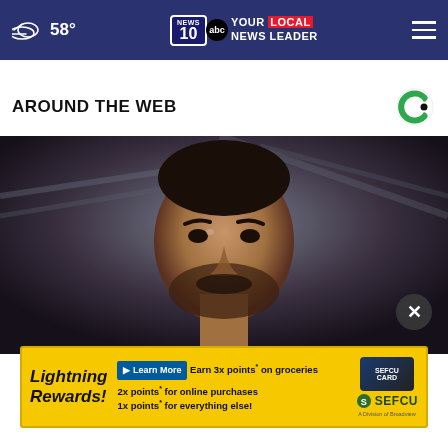NEWS 10 abc YOUR LOCAL NEWS LEADER  ☁ 58°
AROUND THE WEB
[Figure (photo): Close-up photograph of a man with dark hair and beard, looking serious, with blurred background]
[Figure (other): Lightning Rewards advertisement for SEFCU: Earn 3x points on groceries, 2x points for online purchases, 1x points for everything else. Learn More button. SEFCU - A Division of Broadview.]